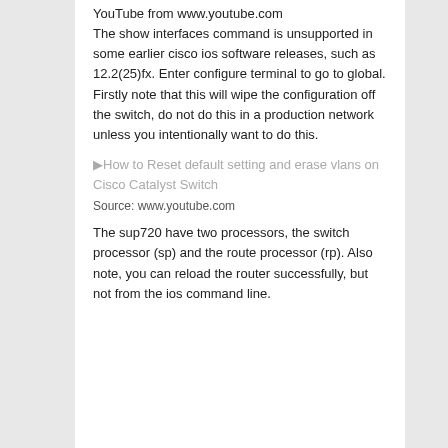YouTube from www.youtube.com The show interfaces command is unsupported in some earlier cisco ios software releases, such as 12.2(25)fx. Enter configure terminal to go to global. Firstly note that this will wipe the configuration off the switch, do not do this in a production network unless you intentionally want to do this.
How to Reset default setting and erase vlans on Cisco Catalyst Switch
Source: www.youtube.com
The sup720 have two processors, the switch processor (sp) and the route processor (rp). Also note, you can reload the router successfully, but not from the ios command line.